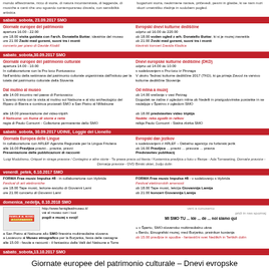mondo affascinante, ricco di storie, di natura incontaminata, di leggende, di musiche e canti che uno sguardo contemporaneo disveIa, con sensibilità artistica | bogazioni storia, neokrniene narave, pričevedi, pesmi in glasbe, ki se nam nuzi skozi umetniško zlednje in sodobnem pogled.
sabato_sobota, 23.09.2017 SMO
Giornate europee del patrimonio | Evropski dnevi kulturne dediščine
apertura 16.00 - 22.00 | odprto od 16.00 do 220.00
ore 18.00 visita guidata con l'arch. Donatella Buttar, ideatrice del museo | ob 18.00 voden ogled z arh. Donatello Buttar, ki si je muzej zasnekla
ore 21.00 Zaoki med gorami, suoni tra i monti | ob 21.00 Zvoki med gorami, suoni tra i monti
concerto per piano di Davide Klodič | klavirski koncert Davida Klodica
sabato_sobota, 30.09.2017 SMO
Giornate europee del patrimonio culturale | Dnevi europske kulturne dediščine (DKD)
apertura 14.00 - 10.00 | odprto od 14.00 do 10.00
In collaborazione con la Pro loco Pontosacco | s sodelovanjem s Pro-loco iz Pinzaga
Nell'ambito della settimana del patrimonio culturale organizzata dall'Istituto per la tutela del patrimonio culturale della Slovenia | V okviru Tednac kulturne dediščine 2017 (TKD), ki ga prireja Zavod za varstvo kulturne dediščine Slovenije
Dal mulino al museo | Od mlina a muzej
alle 14.00 incontro nel paese di Pontosacco | ob 14.00 srečanje v vasi Petzag
L'avento inizia con la visita al mulino sul Natisone e al sito archeologico del Riparo di Biarza e continua proceseli SMO a San Pietro al NMatisone | Dogodek se začne z ogledom mlina ob Nedelli in prazgodovinske postanke in se nadaljuje v Špetrvu z ogledom SMO
ob 18.00 presentazione del video-triptih | ob 18.00 predstavitev video triptija
Il Natisone: un fiume di storie e reità | Nadde: reka zgodb in relkov
regia di Paolo Comuzzi - Collezione permanente dello SMO | relkja Paolo Comuzzi - Stalna zbirka SMO
sabato_sobota, 30.09.2017 UDINE, Loggie del Lionello
Giornata Europea delle Lingue | Evropski dan jezikov
In collaborazione con ARLEF Agenzia Regionale per la Lingua Friulana | s sodelovanjem z ARLEF – Debelno agencijo za furlanski jezik
alle 16.00 Pravljice pravici... pravice, pravci | ob 16.00 Pravljice ... pravici ... pravoce ... pravca
Presentazione delle pubblicazioni di racconti | Predstavitev publikacij
Luigi Modolismo, Ortquel in strage pravoce / Contagino e altre storie - Ta prawa praca od litexia / Kostemica pravljica o liotu u Rezpe - Ada Tomaseting, Domaće pravoce - Domacje pravoce - DVD Binski oktet, Judjo dolin
venerdi_petek, 6.10.2017 SMO
FORMA Free music Impulse #8 - in collaborazione con Hybrida | FORMA Free music Impulse #8 - v sodelovanju s Hybrida
Festival di arti elettroniche | Festival elektronskih amenosti
ore 18.00 Tape music, lezione-ascolto di Giovanni Lamì | ob 18.00 Tape music, lekcija Giovannija Lamija
ore 21.00 concerto di Giovanni Lamì | ob 21.00 koncert Giovannija Lamija
domenica_nedelja, 8.10.2018 SMO
http://www.famigliealmuseo.it/ vai al museo con i tuoi pogdi e muzej s svoji | pridi in nas spoznaj
MI SMO TU ... kle ... de ... noi siamo qui
a San Pietro al Natisone allo SMO finestria multimedialne slovena
a Lasievoro al Museo etnografico per la Burjanka, festa delle castagne
alle 15.00 - favole e racconti - il fantastico delle Valli del Natisone e Torre | v Špertu, SMO-slovensko multimedialno okna
» Berdu, Etnografski muzej, med Burjanko, pratnikon kostanja
ob 15.00 pravljice in spodbe - fantastični svet Nedilkih in Terskih dolin
sabato_sobota, 13.10.2017 SMO
Giornate europee del patrimonio culturale – Dnevi evropske